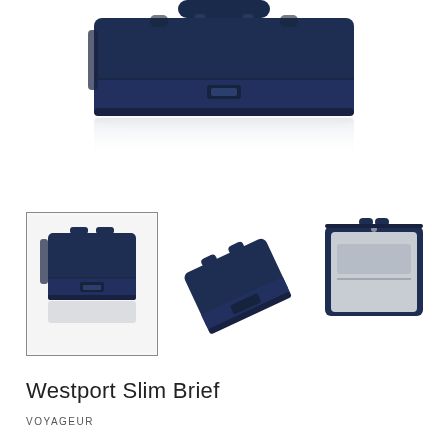[Figure (photo): Hero image of a navy blue slim briefcase/bag shown from the front on a white background with a faint reflection below]
[Figure (photo): Thumbnail row showing three views of the Westport Slim Brief navy bag: front view (selected, with border), angled/tilted view, and open interior view showing grey lining]
Westport Slim Brief
VOYAGEUR